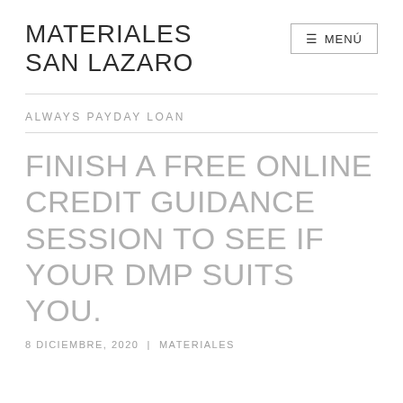MATERIALES SAN LAZARO
ALWAYS PAYDAY LOAN
FINISH A FREE ONLINE CREDIT GUIDANCE SESSION TO SEE IF YOUR DMP SUITS YOU.
8 DICIEMBRE, 2020 | MATERIALES